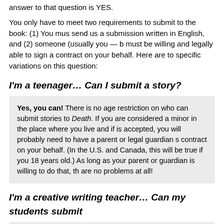answer to that question is YES.
You only have to meet two requirements to submit to the book: (1) You must send us a submission written in English, and (2) someone (usually you — but must be willing and legally able to sign a contract on your behalf. Here are to specific variations on this question:
I'm a teenager… Can I submit a story?
Yes, you can! There is no age restriction on who can submit stories to Death. If you are considered a minor in the place where you live and if is accepted, you will probably need to have a parent or legal guardian s contract on your behalf. (In the U.S. and Canada, this will be true if you 18 years old.) As long as your parent or guardian is willing to do that, th are no problems at all!
I'm a creative writing teacher… Can my students submit
Yes, they can! The above answer about minor writers still applies, of c we also know that teachers sometimes have to be careful about sharin information about their students. If you're a teacher who would like to s stories on behalf of your students but have reservations about including